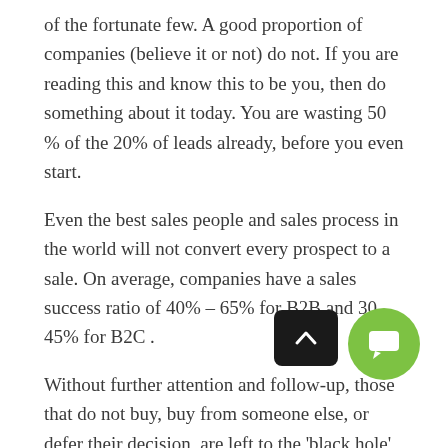of the fortunate few. A good proportion of companies (believe it or not) do not. If you are reading this and know this to be you, then do something about it today. You are wasting 50 % of the 20% of leads already, before you even start.
Even the best sales people and sales process in the world will not convert every prospect to a sale. On average, companies have a sales success ratio of 40% – 65% for B2B and 30 – 45% for B2C .
Without further attention and follow-up, those that do not buy, buy from someone else, or defer their decision, are left to the 'black hole' of sales and marketing. Yep, over 70% of those valuable leads that we have spent time, energy and money on are left for others to pick over, and find a conversation point sometime in the future that triggers the buying process. Unless you are, you probably not be invited to be part of that process.